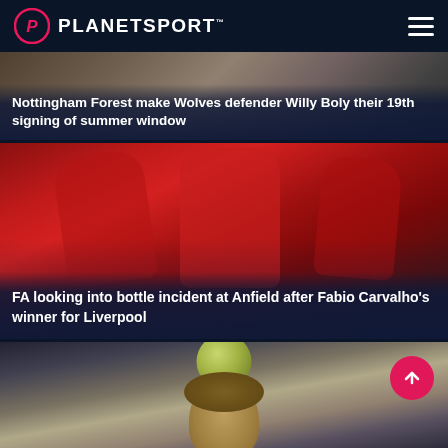PLANETSPORT
[Figure (photo): Partially visible news card with Nottingham Forest / Willy Boly article image in background]
Nottingham Forest make Wolves defender Willy Boly their 19th signing of summer window
[Figure (photo): Liverpool players in red kit celebrating on football pitch]
FA looking into bottle incident at Anfield after Fabio Carvalho's winner for Liverpool
[Figure (photo): Partial view of a curly-haired footballer looking upward, partially cut off at bottom of page]